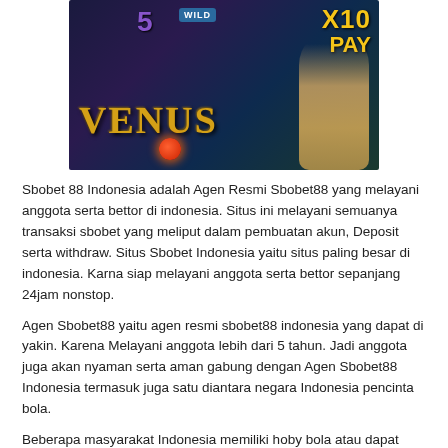[Figure (illustration): Screenshot of a slot game called Venus Wild with golden text 'VENUS', a wild badge, XIO PAY text, a glowing orb, and a female figure on a dark fantasy background.]
Sbobet 88 Indonesia adalah Agen Resmi Sbobet88 yang melayani anggota serta bettor di indonesia. Situs ini melayani semuanya transaksi sbobet yang meliput dalam pembuatan akun, Deposit serta withdraw. Situs Sbobet Indonesia yaitu situs paling besar di indonesia. Karna siap melayani anggota serta bettor sepanjang 24jam nonstop.
Agen Sbobet88 yaitu agen resmi sbobet88 indonesia yang dapat di yakin. Karena Melayani anggota lebih dari 5 tahun. Jadi anggota juga akan nyaman serta aman gabung dengan Agen Sbobet88 Indonesia termasuk juga satu diantara negara Indonesia pencinta bola.
Beberapa masyarakat Indonesia memiliki hoby bola atau dapat dikatakan penggila bola. Dalam nikmati kompetisi bola banyak langkah yang dapat di tempuh oleh pencinta bola. Ada lewat cara beli kaos bola